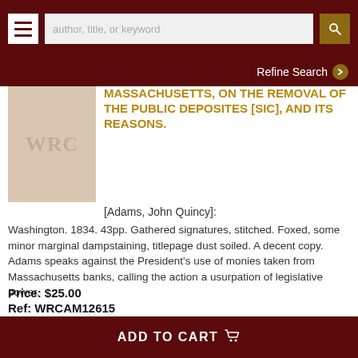author, title, or keyword [search bar] | Refine Search
MASSACHUSETTS, ON THE REMOVAL OF THE PUBLIC DEPOSITES [sic], AND ITS REASONS.
[Adams, John Quincy]:
Washington. 1834. 43pp. Gathered signatures, stitched. Foxed, some minor marginal dampstaining, titlepage dust soiled. A decent copy. Adams speaks against the President's use of monies taken from Massachusetts banks, calling the action a usurpation of legislative power.
Price: $25.00
Ref: WRCAM12615